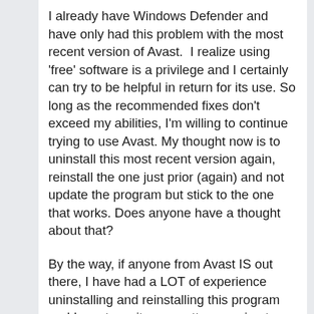I already have Windows Defender and have only had this problem with the most recent version of Avast.  I realize using 'free' software is a privilege and I certainly can try to be helpful in return for its use. So long as the recommended fixes don't exceed my abilities, I'm willing to continue trying to use Avast. My thought now is to uninstall this most recent version again, reinstall the one just prior (again) and not update the program but stick to the one that works. Does anyone have a thought about that?
By the way, if anyone from Avast IS out there, I have had a LOT of experience uninstalling and reinstalling this program and I must say it was pretty annoying to finally figure out that the 'hang up' when uninstalling this most recent version was because I was required to be online at the time of uninstallation and fill out a